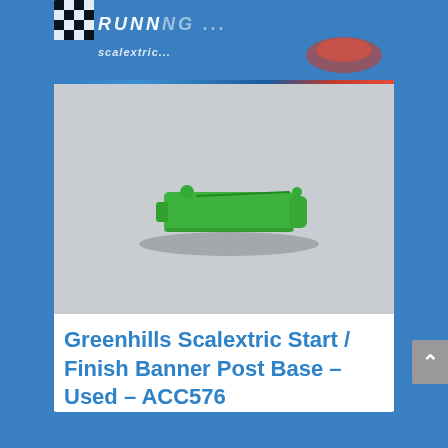[Figure (photo): Website screenshot showing a Scalextric branded banner header at top with checkered flag pattern and racing imagery, followed by a product photo of a small green plastic bracket/base piece (Start/Finish Banner Post Base) on a grey background.]
Greenhills Scalextric Start / Finish Banner Post Base – Used – ACC576